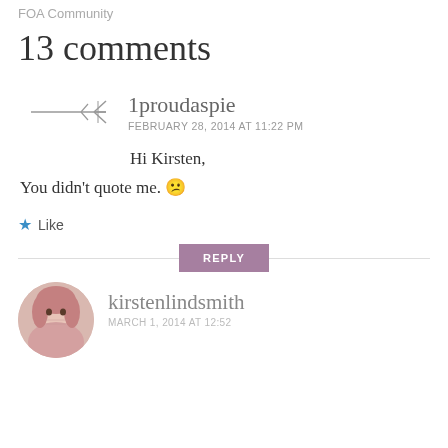FOA Community
13 comments
1proudaspie
FEBRUARY 28, 2014 AT 11:22 PM
Hi Kirsten,
You didn't quote me. 😕
★ Like
REPLY
kirstenlindsmith
MARCH 1, 2014 AT 12:52